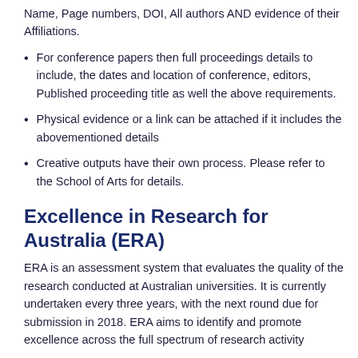Name, Page numbers, DOI, All authors AND evidence of their Affiliations.
For conference papers then full proceedings details to include, the dates and location of conference, editors, Published proceeding title as well the above requirements.
Physical evidence or a link can be attached if it includes the abovementioned details
Creative outputs have their own process. Please refer to the School of Arts for details.
Excellence in Research for Australia (ERA)
ERA is an assessment system that evaluates the quality of the research conducted at Australian universities. It is currently undertaken every three years, with the next round due for submission in 2018. ERA aims to identify and promote excellence across the full spectrum of research activity...